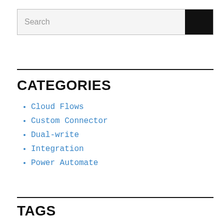[Figure (screenshot): Search input box with a dark search button on the right]
CATEGORIES
Cloud Flows
Custom Connector
Dual-write
Integration
Power Automate
TAGS